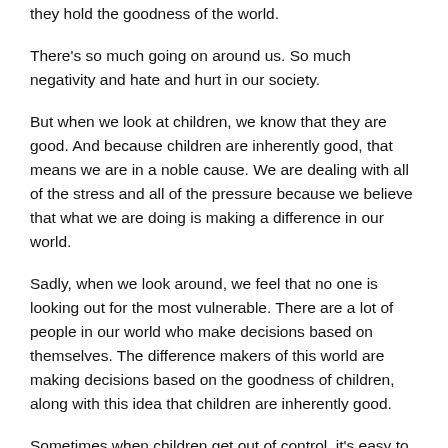they hold the goodness of the world.
There's so much going on around us. So much negativity and hate and hurt in our society.
But when we look at children, we know that they are good. And because children are inherently good, that means we are in a noble cause. We are dealing with all of the stress and all of the pressure because we believe that what we are doing is making a difference in our world.
Sadly, when we look around, we feel that no one is looking out for the most vulnerable. There are a lot of people in our world who make decisions based on themselves. The difference makers of this world are making decisions based on the goodness of children, along with this idea that children are inherently good.
Sometimes when children get out of control, it's easy to